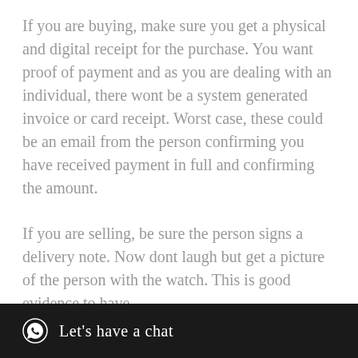If you are buying, make sure you get a physical and digital receipt for the purchase. You want proof of payment and as you are dealing with an individual, there wont be a system generated invoice or card receipt. Worst case, these could be an email from the person confirming you have received payment in full and confirming the amount.
If you are selling, be sure the person signs a delivery note. Now dont laugh but get a picture of the person with the watch. This is good evidence to have.
20. If you are unsure or lack confidence to deal [partially obscured] from a trusted
[Figure (other): Black chat bar at bottom with WhatsApp icon and text 'Let's have a chat']